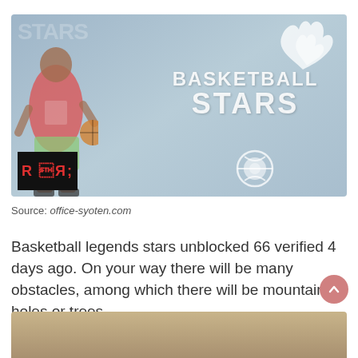[Figure (photo): Basketball Stars game promotional banner with a basketball player in red jersey holding a basketball, with 'Basketball Stars' text logo and a flame/dragon graphic on a light blue-grey background. An RR logo badge is in the bottom left corner.]
Source: office-syoten.com
Basketball legends stars unblocked 66 verified 4 days ago. On your way there will be many obstacles, among which there will be mountains, holes or trees.
[Figure (photo): Partially visible image at the bottom of the page, appears to be a sandy/outdoor scene.]